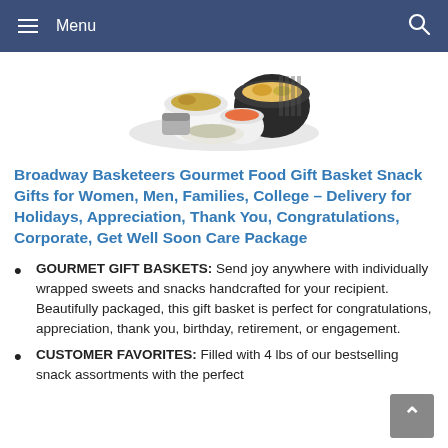Menu
[Figure (photo): Assortment of gourmet snack bowls and gift basket items including nuts, chips, pretzels and sweets arranged together]
Broadway Basketeers Gourmet Food Gift Basket Snack Gifts for Women, Men, Families, College – Delivery for Holidays, Appreciation, Thank You, Congratulations, Corporate, Get Well Soon Care Package
GOURMET GIFT BASKETS: Send joy anywhere with individually wrapped sweets and snacks handcrafted for your recipient. Beautifully packaged, this gift basket is perfect for congratulations, appreciation, thank you, birthday, retirement, or engagement.
CUSTOMER FAVORITES: Filled with 4 lbs of our bestselling snack assortments with the perfect